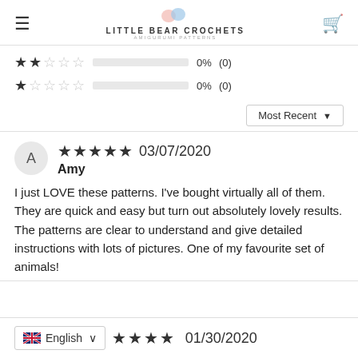LITTLE BEAR CROCHETS AMIGURUMI PATTERNS
2 stars: 0% (0)
1 star: 0% (0)
Sort: Most Recent
A - Amy - 5 stars - 03/07/2020
I just LOVE these patterns. I've bought virtually all of them. They are quick and easy but turn out absolutely lovely results. The patterns are clear to understand and give detailed instructions with lots of pictures. One of my favourite set of animals!
English - 4 stars - 01/30/2020